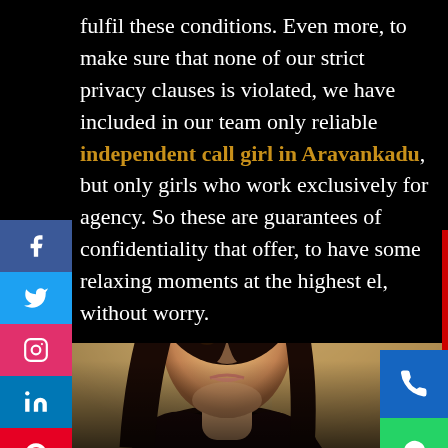fulfil these conditions. Even more, to make sure that none of our strict privacy clauses is violated, we have included in our team only reliable independent call girl in Aravankadu, but only girls who work exclusively for agency. So these are guarantees of confidentiality that offer, to have some relaxing moments at the highest el, without worry.
[Figure (photo): Portrait photo of a young woman with long dark hair, looking over her shoulder, against a blurred stone/wall background]